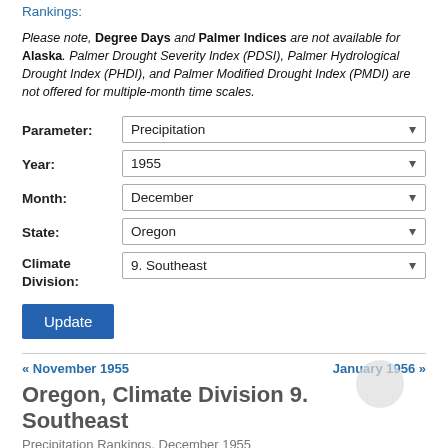Rankings:
Please note, Degree Days and Palmer Indices are not available for Alaska. Palmer Drought Severity Index (PDSI), Palmer Hydrological Drought Index (PHDI), and Palmer Modified Drought Index (PMDI) are not offered for multiple-month time scales.
Parameter: Precipitation
Year: 1955
Month: December
State: Oregon
Climate Division: 9. Southeast
« November 1955    January 1956 »
Oregon, Climate Division 9. Southeast
Precipitation Rankings, December 1955
View Period (Months): All 1 2 3 4 5 6 7 8 9 10 11 12 18 24 36 48 60